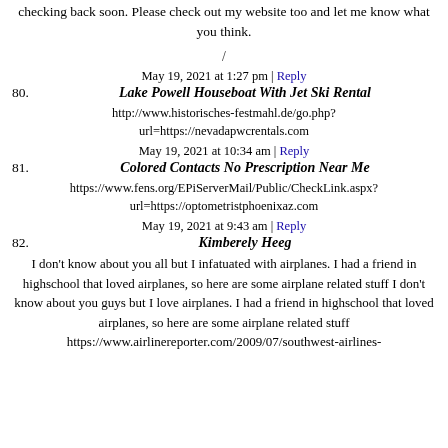checking back soon. Please check out my website too and let me know what you think.
/
May 19, 2021 at 1:27 pm | Reply
80. Lake Powell Houseboat With Jet Ski Rental
http://www.historisches-festmahl.de/go.php?url=https://nevadapwcrentals.com
May 19, 2021 at 10:34 am | Reply
81. Colored Contacts No Prescription Near Me
https://www.fens.org/EPiServerMail/Public/CheckLink.aspx?url=https://optometristphoenixaz.com
May 19, 2021 at 9:43 am | Reply
82. Kimberely Heeg
I don't know about you all but I infatuated with airplanes. I had a friend in highschool that loved airplanes, so here are some airplane related stuff I don't know about you guys but I love airplanes. I had a friend in highschool that loved airplanes, so here are some airplane related stuff https://www.airlinereporter.com/2009/07/southwest-airlines-